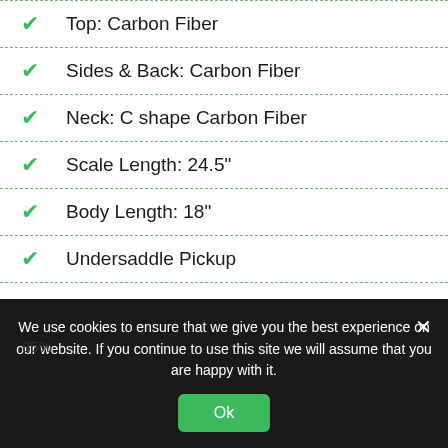Top: Carbon Fiber
Sides & Back: Carbon Fiber
Neck: C shape Carbon Fiber
Scale Length: 24.5"
Body Length: 18"
Undersaddle Pickup
Journey OF660 Overhead Carbon Fiber
[Figure (other): Progress bar showing 85%]
We use cookies to ensure that we give you the best experience on our website. If you continue to use this site we will assume that you are happy with it.